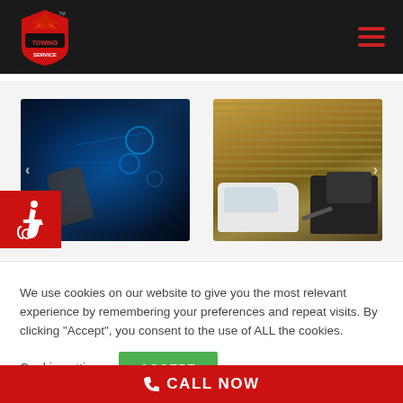[Figure (logo): Phoenix Towing Service logo - red phoenix bird with 'TOWING SERVICE' text on dark background header]
[Figure (photo): Two side-by-side photos: left shows a hand touching a futuristic blue digital dashboard interface; right shows a white car being towed by a tow truck on a street]
[Figure (illustration): Red square with white wheelchair accessibility icon]
We use cookies on our website to give you the most relevant experience by remembering your preferences and repeat visits. By clicking "Accept", you consent to the use of ALL the cookies.
Cookie settings
ACCEPT
CALL NOW